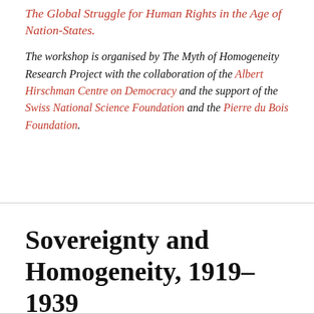The Global Struggle for Human Rights in the Age of Nation-States.
The workshop is organised by The Myth of Homogeneity Research Project with the collaboration of the Albert Hirschman Centre on Democracy and the support of the Swiss National Science Foundation and the Pierre du Bois Foundation.
Sovereignty and Homogeneity, 1919–1939